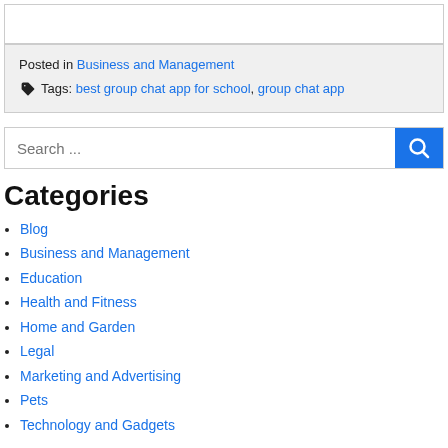Posted in Business and Management
Tags: best group chat app for school, group chat app
Search ...
Categories
Blog
Business and Management
Education
Health and Fitness
Home and Garden
Legal
Marketing and Advertising
Pets
Technology and Gadgets